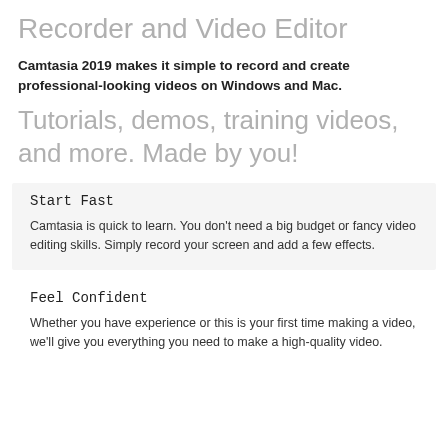Recorder and Video Editor
Camtasia 2019 makes it simple to record and create professional-looking videos on Windows and Mac.
Tutorials, demos, training videos, and more. Made by you!
Start Fast
Camtasia is quick to learn. You don't need a big budget or fancy video editing skills. Simply record your screen and add a few effects.
Feel Confident
Whether you have experience or this is your first time making a video, we'll give you everything you need to make a high-quality video.